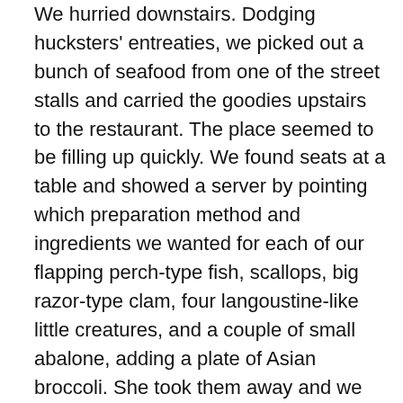We hurried downstairs. Dodging hucksters' entreaties, we picked out a bunch of seafood from one of the street stalls and carried the goodies upstairs to the restaurant. The place seemed to be filling up quickly. We found seats at a table and showed a server by pointing which preparation method and ingredients we wanted for each of our flapping perch-type fish, scallops, big razor-type clam, four langoustine-like little creatures, and a couple of small abalone, adding a plate of Asian broccoli. She took them away and we sipped our beer and waited.
I think the abalone arrived first, followed by scallops and the clams, vegetables, fish, etc. We had ordered predominantly garlic and noodle preparations, and everything predictably was exquisitely fresh but it was also skillfully cooked. Abalone firm but tender in its garlic and scallion mélange, scallops beautifully flavoured with